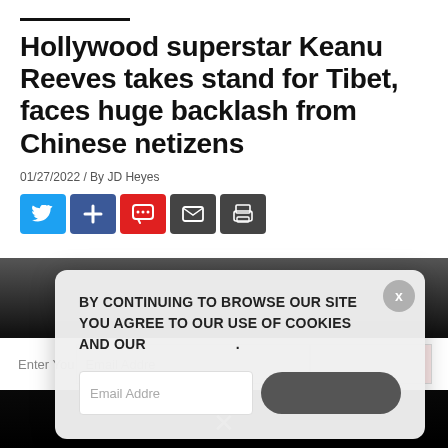Hollywood superstar Keanu Reeves takes stand for Tibet, faces huge backlash from Chinese netizens
01/27/2022 / By JD Heyes
[Figure (screenshot): Social share buttons: Twitter (blue), Plus (blue), Comment (red), Email (dark grey), Print (dark grey)]
[Figure (screenshot): Cookie consent modal overlay on dark background with text: BY CONTINUING TO BROWSE OUR SITE YOU AGREE TO OUR USE OF COOKIES AND OUR. Has X close button top right, email input field and dark subscribe button below. Bottom shows email signup bar and X close button.]